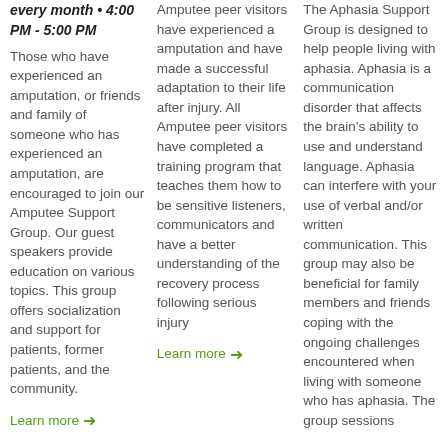every month • 4:00 PM - 5:00 PM
Those who have experienced an amputation, or friends and family of someone who has experienced an amputation, are encouraged to join our Amputee Support Group. Our guest speakers provide education on various topics. This group offers socialization and support for patients, former patients, and the community.
Learn more →
Amputee peer visitors have experienced a amputation and have made a successful adaptation to their life after injury. All Amputee peer visitors have completed a training program that teaches them how to be sensitive listeners, communicators and have a better understanding of the recovery process following serious injury
Learn more →
The Aphasia Support Group is designed to help people living with aphasia. Aphasia is a communication disorder that affects the brain's ability to use and understand language. Aphasia can interfere with your use of verbal and/or written communication. This group may also be beneficial for family members and friends coping with the ongoing challenges encountered when living with someone who has aphasia. The group sessions will be...